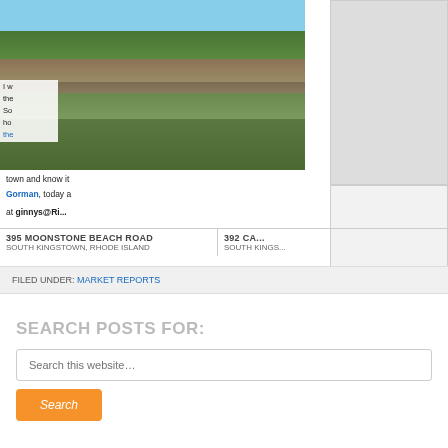[Figure (photo): Outdoor property photo showing green trees, stone wall, grassy lawn, and a house in the background with blue sky — South Kingstown Rhode Island property]
I w... the... So... ho... the... town and know it
Gorman, today a
at ginnys@Ri...
395 MOONSTONE BEACH ROAD
SOUTH KINGSTOWN, RHODE ISLAND
392 CA...
SOUTH KINGS...
FILED UNDER: MARKET REPORTS
SEARCH POSTS FOR:
Search this website…
Search